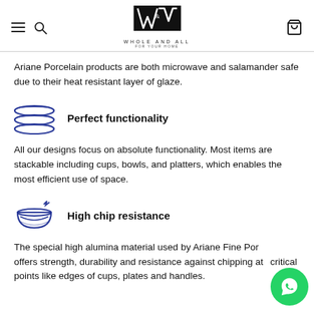Whole And All — For Your Home (navigation header with logo)
Ariane Porcelain products are both microwave and salamander safe due to their heat resistant layer of glaze.
[Figure (illustration): Blue line-art icon of stacked plates/discs]
Perfect functionality
All our designs focus on absolute functionality. Most items are stackable including cups, bowls, and platters, which enables the most efficient use of space.
[Figure (illustration): Blue line-art icon of a bowl with steam/chip resistance symbol]
High chip resistance
The special high alumina material used by Ariane Fine Por offers strength, durability and resistance against chipping at critical points like edges of cups, plates and handles.